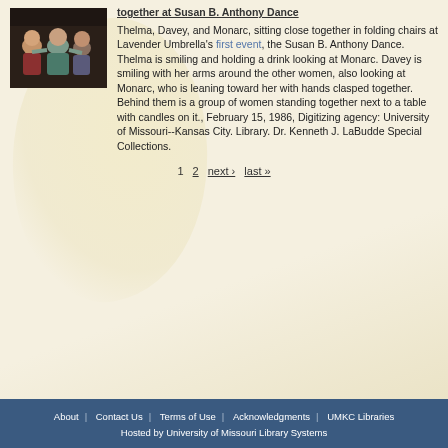[Figure (photo): Photo of Thelma, Davey, and Monarc sitting close together in folding chairs at the Susan B. Anthony Dance, 1986]
together at Susan B. Anthony Dance
Thelma, Davey, and Monarc, sitting close together in folding chairs at Lavender Umbrella's first event, the Susan B. Anthony Dance. Thelma is smiling and holding a drink looking at Monarc. Davey is smiling with her arms around the other women, also looking at Monarc, who is leaning toward her with hands clasped together. Behind them is a group of women standing together next to a table with candles on it., February 15, 1986, Digitizing agency: University of Missouri--Kansas City. Library. Dr. Kenneth J. LaBudde Special Collections.
1  2  next›  last»
About | Contact Us | Terms of Use | Acknowledgments | UMKC Libraries   Hosted by University of Missouri Library Systems